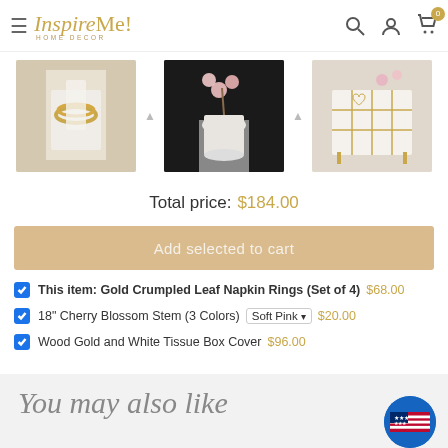Inspire Me! Home Decor — navigation header with search, account, and cart icons
[Figure (photo): Three product photos: Gold Crumpled Leaf Napkin Rings, 18-inch Cherry Blossom Stem vase, and Wood Gold and White Tissue Box Cover]
Total price: $184.00
Add selected to cart
This item: Gold Crumpled Leaf Napkin Rings (Set of 4)  $68.00
18" Cherry Blossom Stem (3 Colors)  Soft Pink  $20.00
Wood Gold and White Tissue Box Cover  $96.00
You may also like